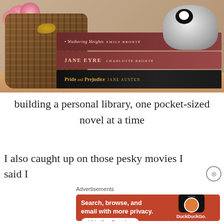[Figure (photo): Photo of a stack of classic novels (Wuthering Heights by Emily Bronte, Jane Eyre by Charlotte Bronte, Pride and Prejudice by Jane Austen) next to a wicker basket with a gold bow decoration, pink flowers in a vase, and a husky stuffed animal toy on a wooden surface.]
building a personal library, one pocket-sized novel at a time
I also caught up on those pesky movies I said I
Advertisements
[Figure (screenshot): DuckDuckGo advertisement banner with orange/red background. Text reads: 'Search, browse, and email with more privacy. All in One Free App'. Shows a smartphone mockup with the DuckDuckGo logo and the text 'DuckDuckGo.' at the bottom right.]